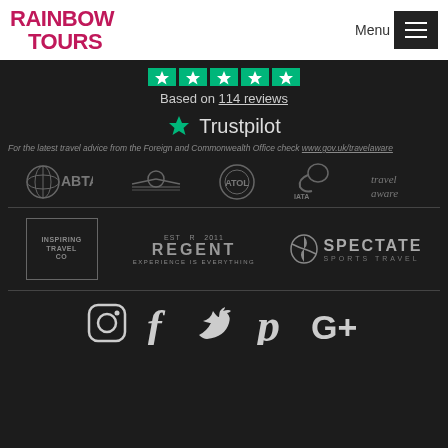[Figure (logo): Rainbow Tours logo in magenta/crimson on white header]
[Figure (logo): Menu button with hamburger icon on white header]
[Figure (infographic): 5 green Trustpilot star rating blocks]
Based on 114 reviews
[Figure (logo): Trustpilot green star logo and wordmark]
For the latest travel advice from the Foreign and Commonwealth Office check www.gov.uk/travelaware
[Figure (logo): ABTA logo, airline logo, ATOL logo, IATA toucan logo, travel aware logo — five partner logos in grey]
[Figure (logo): Inspiring Travel Co logo, Regent logo, Spectate Sports Travel logo — three brand logos]
[Figure (infographic): Social media icons: Instagram, Facebook, Twitter, Pinterest, Google+]